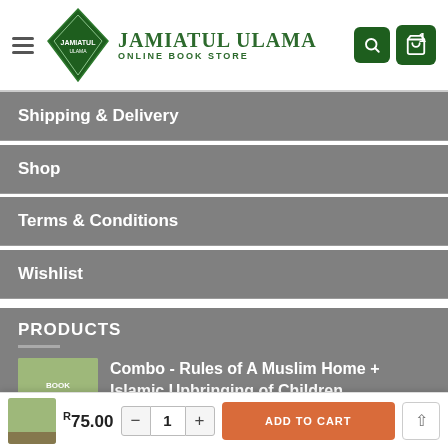[Figure (logo): Jamiatul Ulama Online Book Store logo with diamond-shaped green emblem and text]
Shipping & Delivery
Shop
Terms & Conditions
Wishlist
PRODUCTS
Combo - Rules of A Muslim Home + Islamic Upbringing of Children
R75.00
ADD TO CART